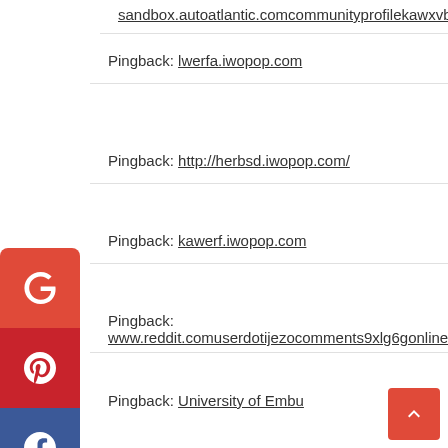sandbox.autoatlantic.comcommunityprofilekawxvb
Pingback: lwerfa.iwopop.com
Pingback: http://herbsd.iwopop.com/
Pingback: kawerf.iwopop.com
Pingback: www.reddit.comuserdotijezocomments9xlg6gonline_pharmacies
Pingback: University of Embu